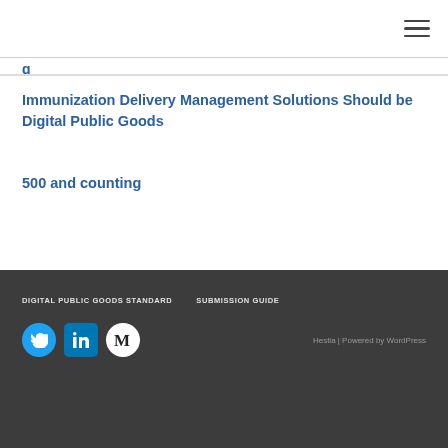≡
Immunization Delivery Management Solutions Should be Digital Public Goods
500 and counting
DIGITAL PUBLIC GOODS STANDARD   SUBMISSION GUIDE   Hestia | Powered by WordPress